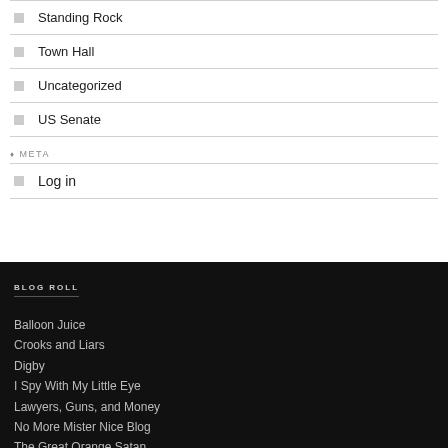Standing Rock
Town Hall
Uncategorized
US Senate
META
Log in
BLOG ROLL
Balloon Juice
Crooks and Liars
Digby
I Spy With My Little Eye
Lawyers, Guns, and Money
No More Mister Nice Blog
The Great Orange Satan
Washington Monthly
Yosl Abouhalilah